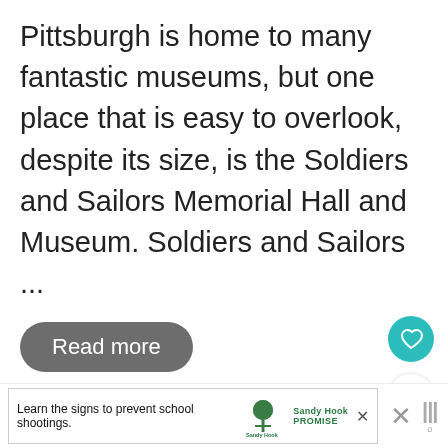Pittsburgh is home to many fantastic museums, but one place that is easy to overlook, despite its size, is the Soldiers and Sailors Memorial Hall and Museum. Soldiers and Sailors ...
Read more
[Figure (other): Heart icon (favorite) button in teal circle, and share icon in white circle with shadow — UI action buttons]
[Figure (other): WHAT'S NEXT arrow label in teal with thumbnail image and text 'Touring the Hidden...']
[Figure (other): Sandy Hook Promise advertisement bar: 'Learn the signs to prevent school shootings.' with tree logo]